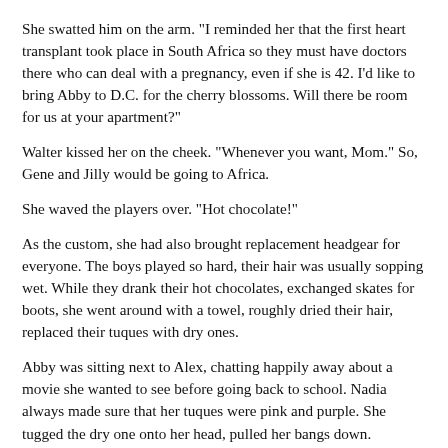She swatted him on the arm. "I reminded her that the first heart transplant took place in South Africa so they must have doctors there who can deal with a pregnancy, even if she is 42. I'd like to bring Abby to D.C. for the cherry blossoms. Will there be room for us at your apartment?"
Walter kissed her on the cheek. "Whenever you want, Mom." So, Gene and Jilly would be going to Africa.
She waved the players over. "Hot chocolate!"
As the custom, she had also brought replacement headgear for everyone. The boys played so hard, their hair was usually sopping wet. While they drank their hot chocolates, exchanged skates for boots, she went around with a towel, roughly dried their hair, replaced their tuques with dry ones.
Abby was sitting next to Alex, chatting happily away about a movie she wanted to see before going back to school. Nadia always made sure that her tuques were pink and purple. She tugged the dry one onto her head, pulled her bangs down.
And moved on to the last one on the bench. Alex.
He looked up at her, not understanding what she wanted.